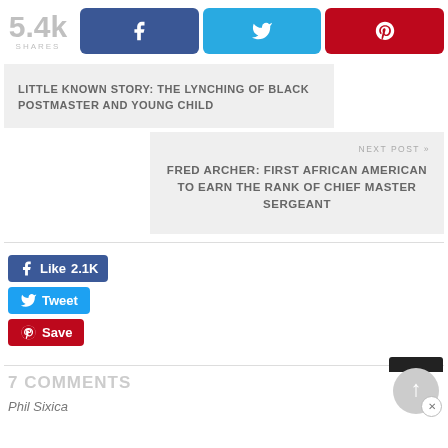[Figure (other): Social share bar with 5.4k shares count, Facebook button (f icon), Twitter button (bird icon), Pinterest button (P icon)]
LITTLE KNOWN STORY: THE LYNCHING OF BLACK POSTMASTER AND YOUNG CHILD
FRED ARCHER: FIRST AFRICAN AMERICAN TO EARN THE RANK OF CHIEF MASTER SERGEANT
[Figure (other): Facebook Like button showing 2.1K likes, Twitter Tweet button, Pinterest Save button]
7 COMMENTS
Phil Sixica